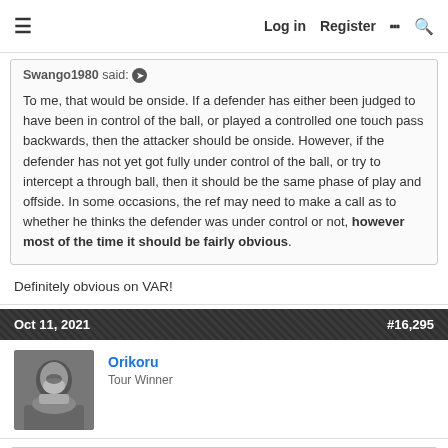≡  Log in  Register  ⚡  🔍
Swango1980 said: ➤

To me, that would be onside. If a defender has either been judged to have been in control of the ball, or played a controlled one touch pass backwards, then the attacker should be onside. However, if the defender has not yet got fully under control of the ball, or try to intercept a through ball, then it should be the same phase of play and offside. In some occasions, the ref may need to make a call as to whether he thinks the defender was under control or not, however most of the time it should be fairly obvious.
Definitely obvious on VAR!
Oct 11, 2021   #16,295
Orikoru
Tour Winner
Bdill93 said: ➤